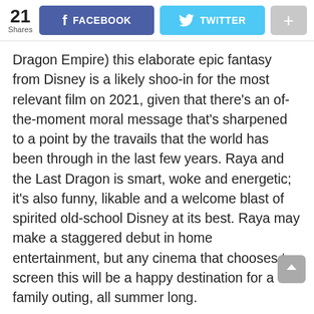21 Shares | FACEBOOK | TWITTER | +
Dragon Empire) this elaborate epic fantasy from Disney is a likely shoo-in for the most relevant film on 2021, given that there's an of-the-moment moral message that's sharpened to a point by the travails that the world has been through in the last few years. Raya and the Last Dragon is smart, woke and energetic; it's also funny, likable and a welcome blast of spirited old-school Disney at its best. Raya may make a staggered debut in home entertainment, but any cinema that chooses to screen this will be a happy destination for a family outing, all summer long.
A virus like scourge known as the Druun has